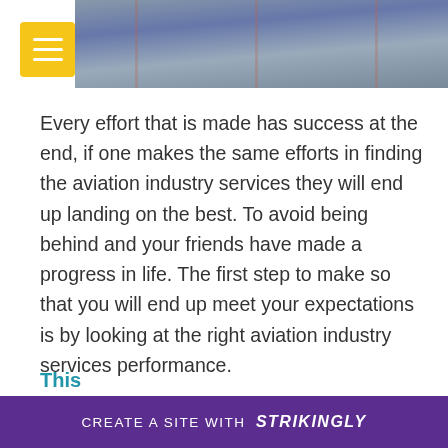[Figure (photo): Header image showing an aerial or tarmac view with gray tones, partially obscured by a yellow menu button in the top-left corner.]
Every effort that is made has success at the end, if one makes the same efforts in finding the aviation industry services they will end up landing on the best. To avoid being behind and your friends have made a progress in life. The first step to make so that you will end up meet your expectations is by looking at the right aviation industry services performance.
This
CREATE A SITE WITH strikingly